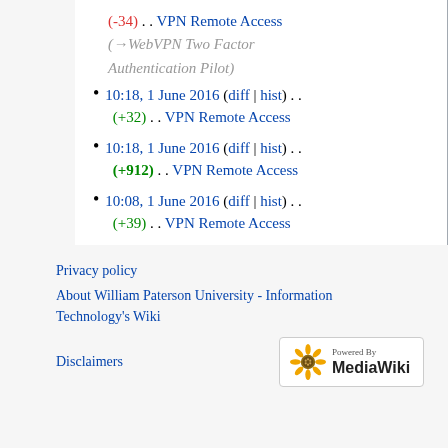(-34) . . VPN Remote Access (→WebVPN Two Factor Authentication Pilot)
10:18, 1 June 2016 (diff | hist) . . (+32) . . VPN Remote Access
10:18, 1 June 2016 (diff | hist) . . (+912) . . VPN Remote Access
10:08, 1 June 2016 (diff | hist) . . (+39) . . VPN Remote Access
(newest | oldest) View (newer 100 | older 100) (20 | 50 | 100 | 250 | 500)
Privacy policy | About William Paterson University - Information Technology's Wiki | Disclaimers | Powered by MediaWiki